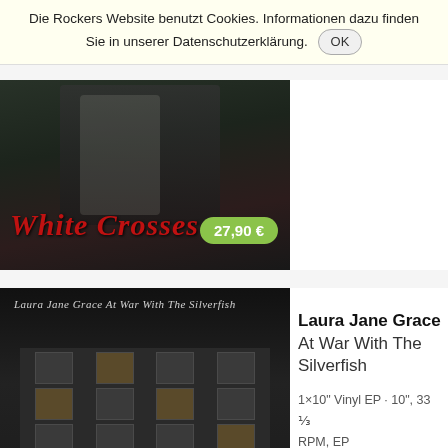Die Rockers Website benutzt Cookies. Informationen dazu finden Sie in unserer Datenschutzerklärung. OK
[Figure (photo): Album cover for White Crosses - dark moody black and white image with red handwritten 'White Crosses' text and a green price badge showing 27,90 €]
[Figure (photo): Album cover for Laura Jane Grace - At War With The Silverfish, showing a dark black and white building exterior with handwritten cursive text at top]
Laura Jane Grace
At War With The Silverfish
1×10" Vinyl EP · 10", 33 ⅓ RPM, EP